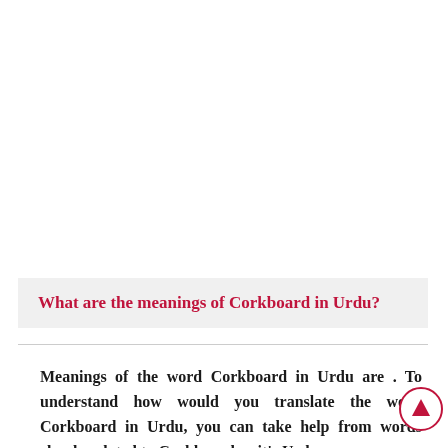What are the meanings of Corkboard in Urdu?
Meanings of the word Corkboard in Urdu are . To understand how would you translate the word Corkboard in Urdu, you can take help from words closely related to Corkboard or it's Urdu